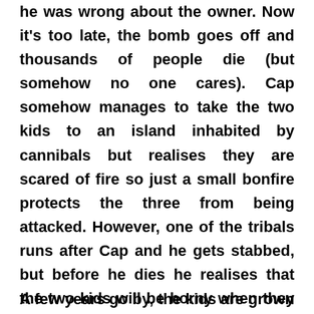he was wrong about the owner. Now it's too late, the bomb goes off and thousands of people die (but somehow no one cares). Cap somehow manages to take the two kids to an island inhabited by cannibals but realises they are scared of fire so just a small bonfire protects the three from being attacked. However, one of the tribals runs after Cap and he gets stabbed, but before he dies he realises that the two kids will be horny when they grow up so he makes them get married them using the same bonfire that saved him. This fire later becomes his pyre as well because he dies during the night.
A few years go by, the kids are grown up and hot.